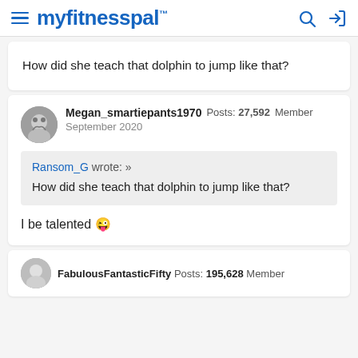myfitnesspal
How did she teach that dolphin to jump like that?
Megan_smartiepants1970  Posts: 27,592  Member
September 2020
Ransom_G wrote: »
How did she teach that dolphin to jump like that?
I be talented 😜
FabulousFantasticFifty  Posts: 195,628  Member